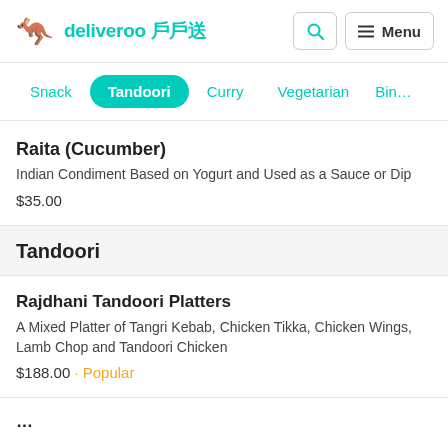deliveroo 戶戶送
Snack
Tandoori
Curry
Vegetarian
Bin…
Raita (Cucumber)
Indian Condiment Based on Yogurt and Used as a Sauce or Dip
$35.00
Tandoori
Rajdhani Tandoori Platters
A Mixed Platter of Tangri Kebab, Chicken Tikka, Chicken Wings, Lamb Chop and Tandoori Chicken
$188.00 · Popular